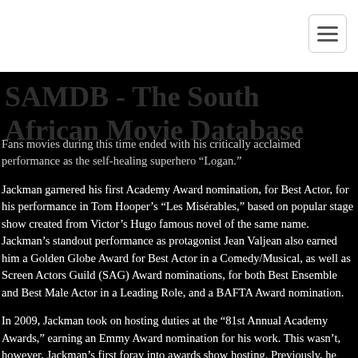SAMDB - The South African Movie Database
Fans movies during this time ended with his critically acclaimed performance as the self-healing superhero “Logan.”
Jackman garnered his first Academy Award nomination, for Best Actor, for his performance in Tom Hooper’s “Les Misérables,” based on popular stage show created from Victor’s Hugo famous novel of the same name. Jackman’s standout performance as protagonist Jean Valjean also earned him a Golden Globe Award for Best Actor in a Comedy/Musical, as well as Screen Actors Guild (SAG) Award nominations, for both Best Ensemble and Best Male Actor in a Leading Role, and a BAFTA Award nomination.
In 2009, Jackman took on hosting duties at the “81st Annual Academy Awards,” earning an Emmy Award nomination for his work. This wasn’t, however, Jackman’s first foray into awards show hosting. Previously, he served as host of the Tony Awards three years in a row, from 2003 to 2005, earning an Emmy Award for the 2004 ceremony, and an Emmy nomination for his appearance at the 2005 ceremony.